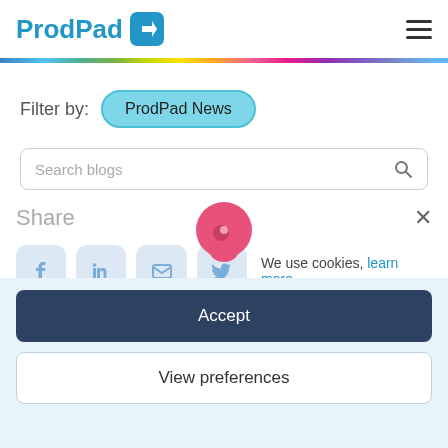ProdPad
Filter by:
ProdPad News
Search blogs
Share
We use cookies, learn more.
Accept
View preferences